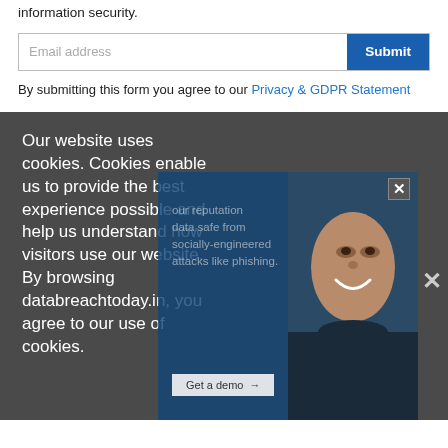information security.
By submitting this form you agree to our Privacy & GDPR Statement
Our website uses cookies. Cookies enable us to provide the best experience possible and help us understand how visitors use our website. By browsing databreachtoday.in, you agree to our use of cookies.
our reputation
data safe from
socially-engineered
attacks like phishing.
Get a demo →